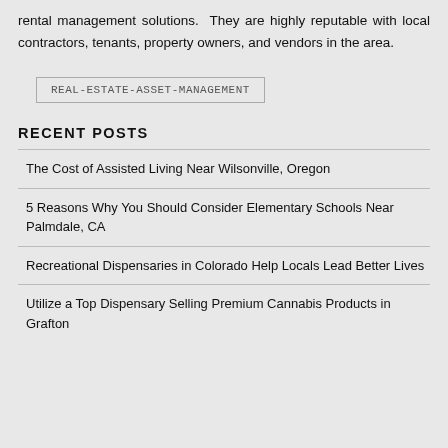rental management solutions. They are highly reputable with local contractors, tenants, property owners, and vendors in the area.
REAL-ESTATE-ASSET-MANAGEMENT
RECENT POSTS
The Cost of Assisted Living Near Wilsonville, Oregon
5 Reasons Why You Should Consider Elementary Schools Near Palmdale, CA
Recreational Dispensaries in Colorado Help Locals Lead Better Lives
Utilize a Top Dispensary Selling Premium Cannabis Products in Grafton